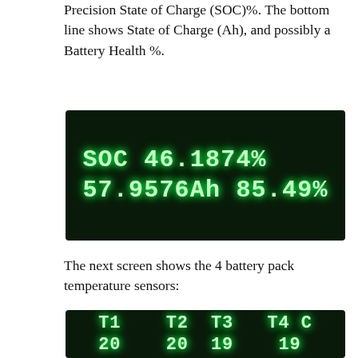Precision State of Charge (SOC)%. The bottom line shows State of Charge (Ah), and possibly a Battery Health %.
[Figure (photo): LCD display screen showing SOC 46.1874% on first line and 57.9576Ah 85.49% on second line, white-green digits on black background]
The next screen shows the 4 battery pack temperature sensors:
[Figure (photo): LCD display screen showing T1 T2 T3 T4 C on first line and 20 20 19 19 on second line, white-green digits on black background]